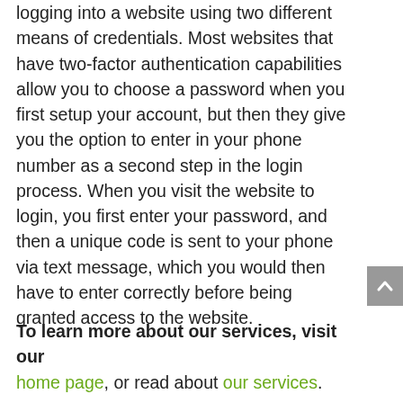logging into a website using two different means of credentials. Most websites that have two-factor authentication capabilities allow you to choose a password when you first setup your account, but then they give you the option to enter in your phone number as a second step in the login process. When you visit the website to login, you first enter your password, and then a unique code is sent to your phone via text message, which you would then have to enter correctly before being granted access to the website.
To learn more about our services, visit our home page, or read about our services.